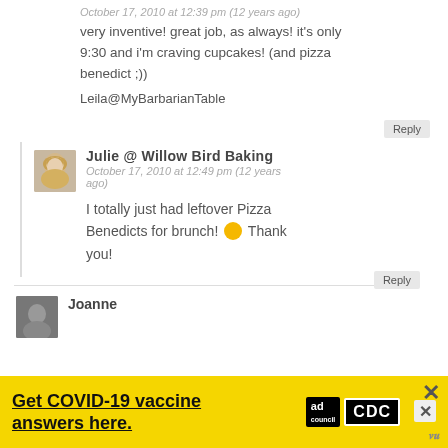October 17, 2010 at 12:39 pm (12 years ago)
very inventive! great job, as always! it's only 9:30 and i'm craving cupcakes! (and pizza benedict ;))
Leila@MyBarbarianTable
Reply
Julie @ Willow Bird Baking
October 17, 2010 at 12:49 pm (12 years ago)
I totally just had leftover Pizza Benedicts for brunch! 🙂 Thank you!
Reply
Joanne
[Figure (other): Yellow advertisement banner: Get COVID-19 vaccine answers here. with ad council and CDC logos and close buttons]